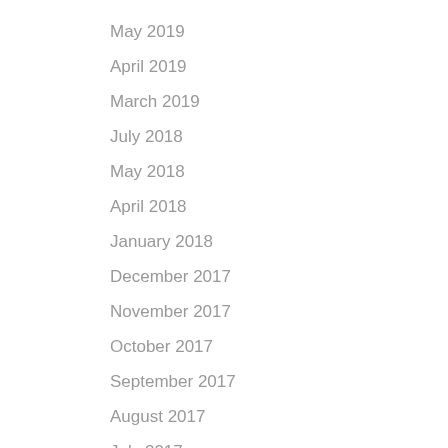May 2019
April 2019
March 2019
July 2018
May 2018
April 2018
January 2018
December 2017
November 2017
October 2017
September 2017
August 2017
July 2017
June 2017
May 2017
April 2017
March 2017